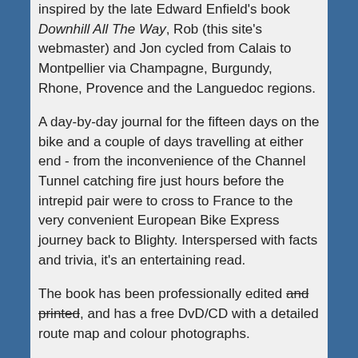inspired by the late Edward Enfield's book Downhill All The Way, Rob (this site's webmaster) and Jon cycled from Calais to Montpellier via Champagne, Burgundy, Rhone, Provence and the Languedoc regions.
A day-by-day journal for the fifteen days on the bike and a couple of days travelling at either end - from the inconvenience of the Channel Tunnel catching fire just hours before the intrepid pair were to cross to France to the very convenient European Bike Express journey back to Blighty. Interspersed with facts and trivia, it's an entertaining read.
The book has been professionally edited and printed [strikethrough], and has a free DvD/CD with a detailed route map and colour photographs.